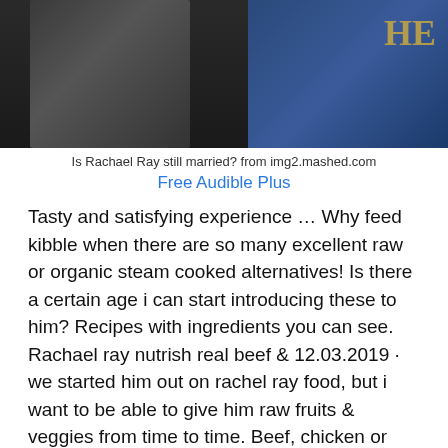[Figure (photo): Two people at an event — a man in a dark suit on the left and a woman in a blue dress on the right, with a partial gold logo/text 'HE' visible in the upper right corner. Cropped to show torsos/shoulders.]
Is Rachael Ray still married? from img2.mashed.com
Free Audible Plus
Tasty and satisfying experience … Why feed kibble when there are so many excellent raw or organic steam cooked alternatives! Is there a certain age i can start introducing these to him? Recipes with ingredients you can see. Rachael ray nutrish real beef & 12.03.2019 · we started him out on rachel ray food, but i want to be able to give him raw fruits & veggies from time to time. Beef, chicken or turkey is the #1 ingredient. Discover natural dog food and treats from rachael ray nutrish.
[Figure (photo): Outdoor photo showing green trees and foliage, partially visible at the bottom of the page.]